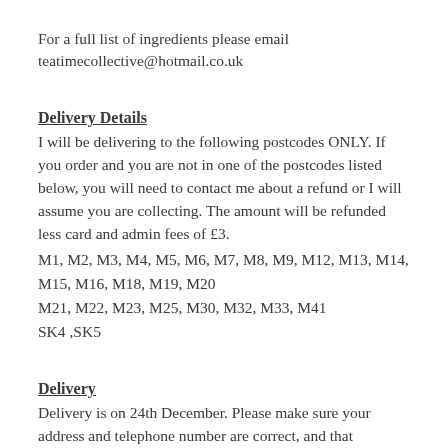For a full list of ingredients please email teatimecollective@hotmail.co.uk
Delivery Details
I will be delivering to the following postcodes ONLY. If you order and you are not in one of the postcodes listed below, you will need to contact me about a refund or I will assume you are collecting. The amount will be refunded less card and admin fees of £3.
M1, M2, M3, M4, M5, M6, M7, M8, M9, M12, M13, M14, M15, M16, M18, M19, M20
M21, M22, M23, M25, M30, M32, M33, M41
SK4 ,SK5
Delivery
Delivery is on 24th December. Please make sure your address and telephone number are correct, and that